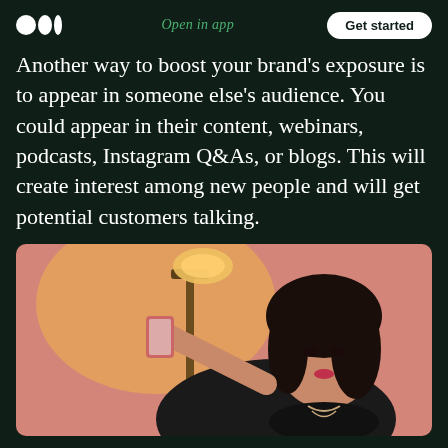Medium logo | Open in app | Get started
Another way to boost your brand's exposure is to appear in someone else's audience. You could appear in their content, webinars, podcasts, Instagram Q&As, or blogs. This will create interest among new people and will get potential customers talking.
[Figure (photo): A woman taking a selfie with her phone, wearing a black outfit with necklaces. She is smiling with red lipstick. Behind her is a pink wall and a warm lit floor lamp with gold details.]
Home | Search | Profile — app navigation bar